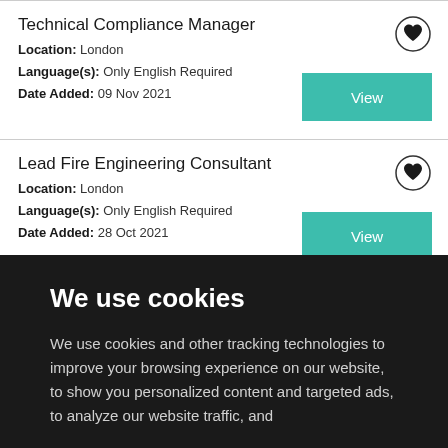Technical Compliance Manager
Location: London
Language(s): Only English Required
Date Added: 09 Nov 2021
Lead Fire Engineering Consultant
Location: London
Language(s): Only English Required
Date Added: 28 Oct 2021
We use cookies
We use cookies and other tracking technologies to improve your browsing experience on our website, to show you personalized content and targeted ads, to analyze our website traffic, and